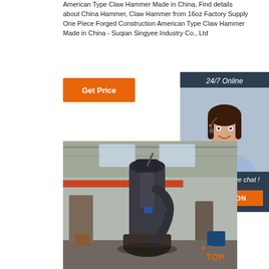American Type Claw Hammer Made in China, Find details about China Hammer, Claw Hammer from 16oz Factory Supply One Piece Forged Construction American Type Claw Hammer Made in China - Suqian Singyee Industry Co., Ltd
Get Price
[Figure (photo): 24/7 Online chat widget with a female customer service representative wearing a headset, with dark background and orange QUOTATION button]
[Figure (photo): Factory floor photo showing large industrial forging/hammering equipment in a manufacturing facility]